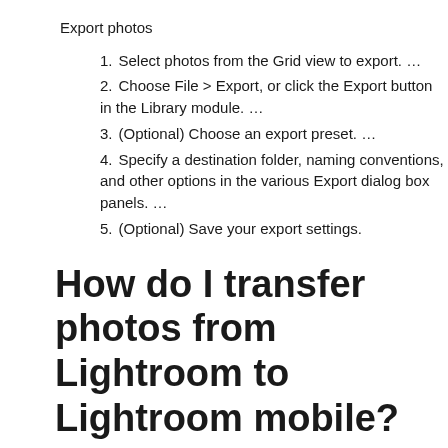Export photos
Select photos from the Grid view to export. …
Choose File > Export, or click the Export button in the Library module. …
(Optional) Choose an export preset. …
Specify a destination folder, naming conventions, and other options in the various Export dialog box panels. …
(Optional) Save your export settings.
How do I transfer photos from Lightroom to Lightroom mobile?
How to Sync Across Devices